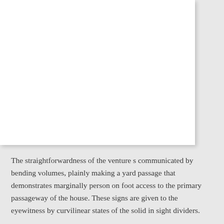The straightforwardness of the venture s communicated by bending volumes, plainly making a yard passage that demonstrates marginally person on foot access to the primary passageway of the house. These signs are given to the eyewitness by curvilinear states of the solid in sight dividers.